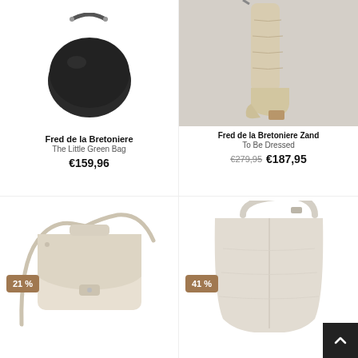[Figure (photo): Black leather crossbody bag by Fred de la Bretoniere]
Fred de la Bretoniere
The Little Green Bag
€159,96
[Figure (photo): Beige tall leather boots by Fred de la Bretoniere Zand]
Fred de la Bretoniere Zand
To Be Dressed
€279,95  €187,95
[Figure (photo): Beige leather crossbody satchel bag with 21% discount badge]
21 %
[Figure (photo): Beige suede hobo shoulder bag with 41% discount badge]
41 %